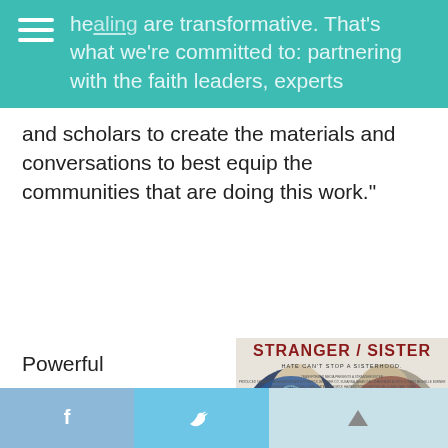healing are transformative. That's what we're committed to: partnering with the faith leaders, experts and scholars to create the materials and conversations to best equip the communities that are doing this work."
Powerful
[Figure (photo): Movie poster for 'Stranger / Sister' with tagline 'Hate Can't Stop a Sisterhood.' showing two women's faces in profile facing each other, one wearing a hijab with a blue design, the other with red accents. Website: www.strangersister.com]
f  (social share buttons: Facebook, Twitter, and scroll-up arrow)